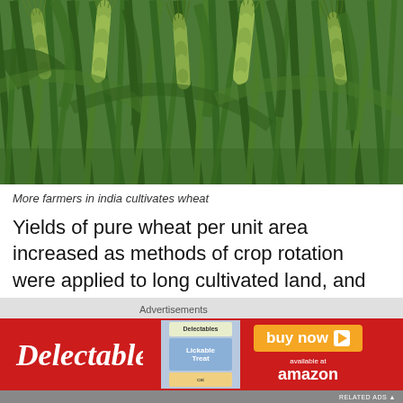[Figure (photo): Close-up photograph of green wheat stalks with grain heads in a field, showing multiple wheat ears against green background]
More farmers in india cultivates wheat
Yields of pure wheat per unit area increased as methods of crop rotation were applied to long cultivated land, and the use of fertilizers. There are around 30,000 wheat varieties of 14 species grown throughout the world. Of these about 1,000 are commercially significant. In the United States over 500 varieties are available. In Canada different varieties are
[Figure (advertisement): Delectables cat treat advertisement with red background, showing Delectables brand name, Lickable Treat product image, and buy now button with amazon available at text]